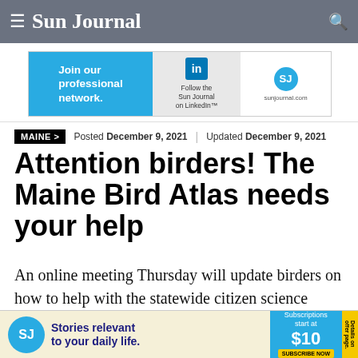≡ Sun Journal
[Figure (infographic): LinkedIn advertisement banner: 'Join our professional network.' with LinkedIn logo and 'Follow the Sun Journal on LinkedIn' with SJ circle logo and sunjournal.com]
MAINE >   Posted December 9, 2021  |  Updated December 9, 2021
Attention birders! The Maine Bird Atlas needs your help
An online meeting Thursday will update birders on how to help with the statewide citizen science project by reporting bird sightings.
[Figure (infographic): Sun Journal subscription ad: 'Stories relevant to your daily life.' Subscriptions start at $10. Subscribe Now.]